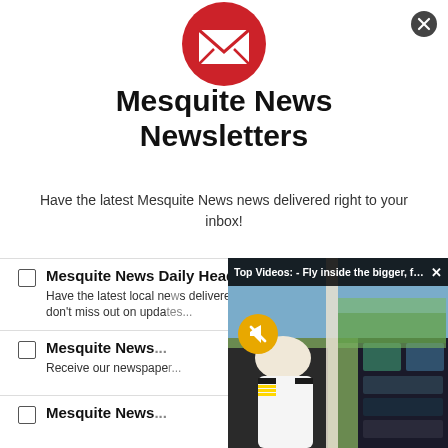SHARE THIS
[Figure (illustration): Red circle with white envelope/mail icon]
Mesquite News Newsletters
Have the latest Mesquite News news delivered right to your inbox!
Mesquite News Daily Headlines — Have the latest local news delivered to your inbox, don't miss out on updates...
Mesquite News — Receive our newspaper...
Mesquite News...
[Figure (photo): Video overlay showing pilot in cockpit of helicopter flying over landscape, with 'Top Videos: - Fly inside the bigger, faste...' bar at top and mute button]